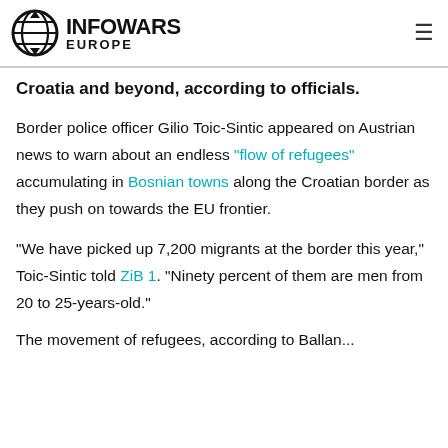INFOWARS EUROPE
Croatia and beyond, according to officials.
Border police officer Gilio Toic-Sintic appeared on Austrian news to warn about an endless "flow of refugees" accumulating in Bosnian towns along the Croatian border as they push on towards the EU frontier.
"We have picked up 7,200 migrants at the border this year," Toic-Sintic told ZiB 1. "Ninety percent of them are men from 20 to 25-years-old."
The movement of refugees, according to Balkan...